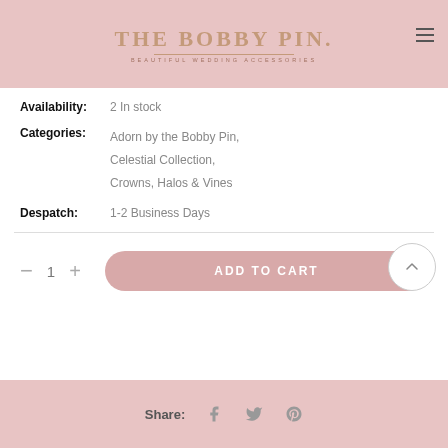THE BOBBY PIN. BEAUTIFUL WEDDING ACCESSORIES
Availability: 2 In stock
Categories: Adorn by the Bobby Pin, Celestial Collection, Crowns, Halos & Vines
Despatch: 1-2 Business Days
- 1 + ADD TO CART
Share: